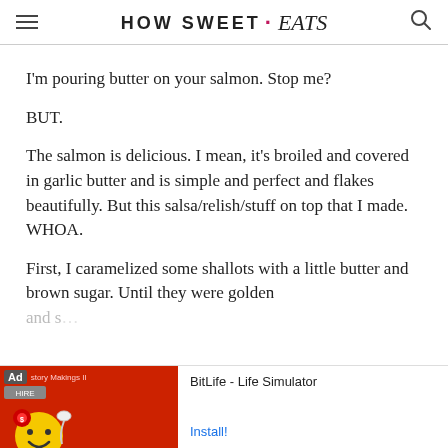HOW SWEET · eats
I'm pouring butter on your salmon. Stop me?
BUT.
The salmon is delicious. I mean, it's broiled and covered in garlic butter and is simple and perfect and flakes beautifully. But this salsa/relish/stuff on top that I made. WHOA.
First, I caramelized some shallots with a little butter and brown sugar. Until they were golden and s[cut off] beca[cut off]
[Figure (screenshot): Mobile advertisement banner for BitLife - Life Simulator app, with red background on left showing game icon with yellow smiley character, and white right side with app name and Install button]